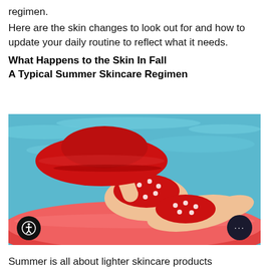regimen.
Here are the skin changes to look out for and how to update your daily routine to reflect what it needs.
What Happens to the Skin In Fall A Typical Summer Skincare Regimen
[Figure (photo): Woman in red polka-dot bikini and large red sun hat lying on a red inflatable pool float in a swimming pool with blue water.]
Summer is all about lighter skincare products